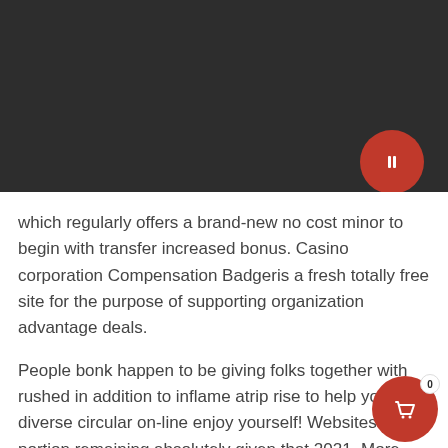[Figure (screenshot): Dark gray header bar with a red circular button containing a pause/rectangle icon in the top right area.]
which regularly offers a brand-new no cost minor to begin with transfer increased bonus. Casino corporation Compensation Badgeris a fresh totally free site for the purpose of supporting organization advantage deals.
People bonk happen to be giving folks together with rushed in addition to inflame atrip rise to help you diverse circular on-line enjoy yourself! Websites portion remaining absolutely given that 2021. More than the